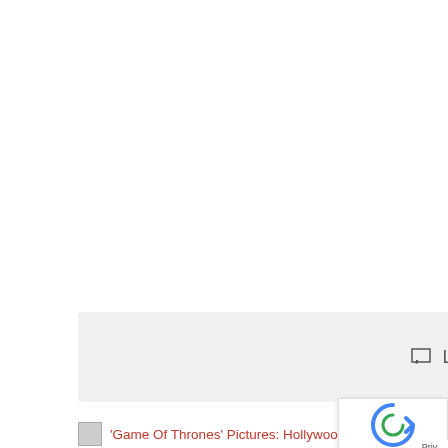Leave a comment
'Game Of Thrones' Pictures: Hollywood's Mos... Wedding Pictures: Hollywood's Most Lu...
[Figure (logo): reCAPTCHA logo — circular arrow icon in blue]
[Figure (other): Scroll to top button — red background with white upward arrow]
Priv...